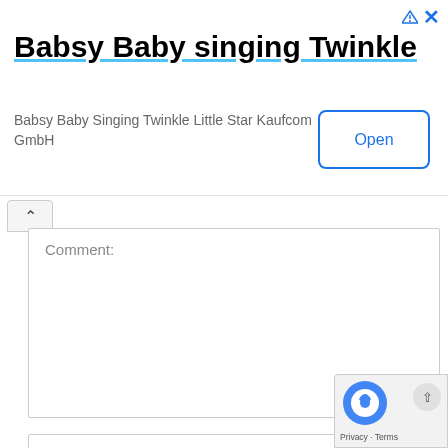[Figure (screenshot): Advertisement banner for 'Babsy Baby singing Twinkle' app by Kaufcom GmbH with an Open button]
Babsy Baby singing Twinkle
Babsy Baby Singing Twinkle Little Star Kaufcom GmbH
Comment:
Name:*
Email:*
Website: